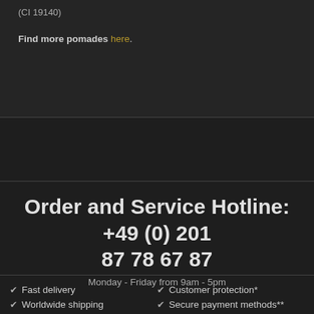(CI 19140)
Find more pomades here.
Order and Service Hotline: +49 (0) 201 87 78 67 87
Monday - Friday from 9am - 5pm
✔ Fast delivery
✔ Customer protection*
✔ Worldwide shipping
✔ Secure payment methods**